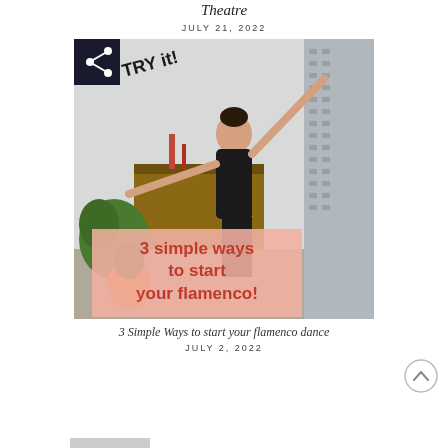Theatre
JULY 21, 2022
[Figure (photo): A woman in a black sleeveless top doing a flamenco dance pose with arms outstretched, in a room with plants and candles. Overlay text reads 'TRY it!' and a pink box with '3 simple ways to start your flamenco!'. A share icon button is in the top-left corner.]
3 Simple Ways to start your flamenco dance
JULY 2, 2022